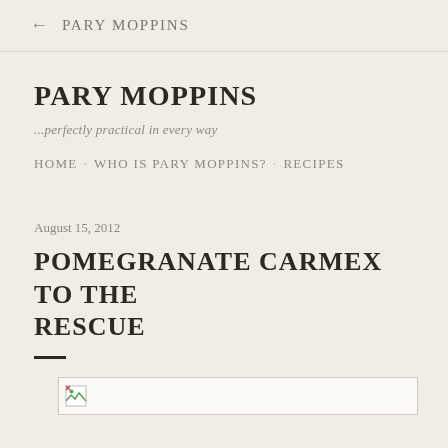← PARY MOPPINS
PARY MOPPINS
...perfectly practical in every way
HOME · WHO IS PARY MOPPINS? · RECIPES
August 15, 2012
POMEGRANATE CARMEX TO THE RESCUE
[Figure (photo): Broken image placeholder — a partially loaded image icon inside a bordered box]